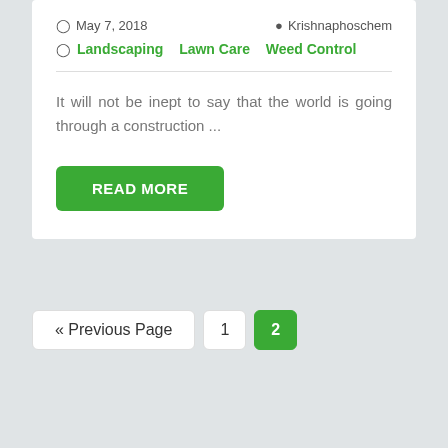May 7, 2018   Krishnaphoschem
Landscaping   Lawn Care   Weed Control
It will not be inept to say that the world is going through a construction ...
READ MORE
« Previous Page   1   2